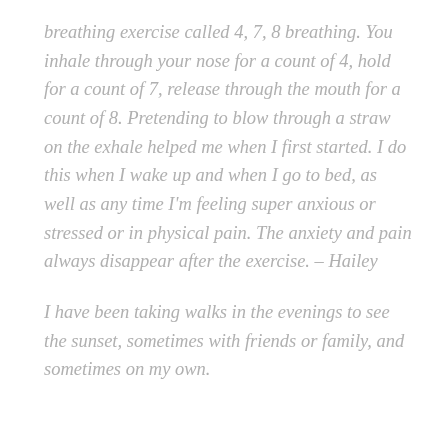breathing exercise called 4, 7, 8 breathing. You inhale through your nose for a count of 4, hold for a count of 7, release through the mouth for a count of 8. Pretending to blow through a straw on the exhale helped me when I first started. I do this when I wake up and when I go to bed, as well as any time I'm feeling super anxious or stressed or in physical pain. The anxiety and pain always disappear after the exercise. – Hailey
I have been taking walks in the evenings to see the sunset, sometimes with friends or family, and sometimes on my own.